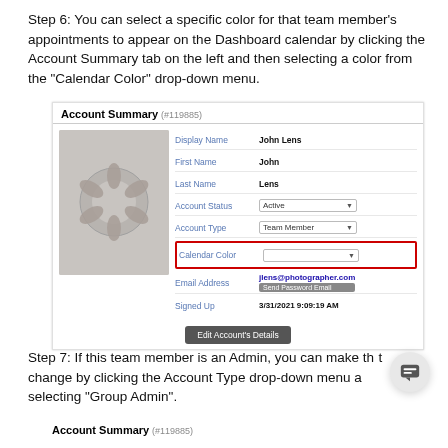Step 6: You can select a specific color for that team member’s appointments to appear on the Dashboard calendar by clicking the Account Summary tab on the left and then selecting a color from the “Calendar Color” drop-down menu.
[Figure (screenshot): Account Summary panel showing user John Lens with fields: Display Name, First Name, Last Name, Account Status (Active), Account Type (Team Member), Calendar Color (highlighted with red border, dropdown), Email Address (jlens@photographer.com with Send Password Email button), Signed Up (3/31/2021 9:09:19 AM), and Edit Account's Details button. Avatar placeholder on left.]
Step 7: If this team member is an Admin, you can make that change by clicking the Account Type drop-down menu and selecting “Group Admin”.
[Figure (screenshot): Account Summary panel header (#119885) partially visible at bottom of page.]